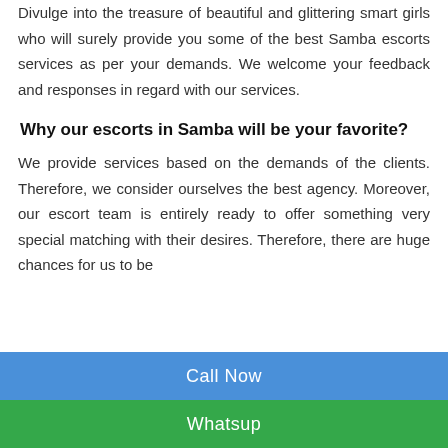Divulge into the treasure of beautiful and glittering smart girls who will surely provide you some of the best Samba escorts services as per your demands. We welcome your feedback and responses in regard with our services.
Why our escorts in Samba will be your favorite?
We provide services based on the demands of the clients. Therefore, we consider ourselves the best agency. Moreover, our escort team is entirely ready to offer something very special matching with their desires. Therefore, there are huge chances for us to be
Call Now
Whatsup